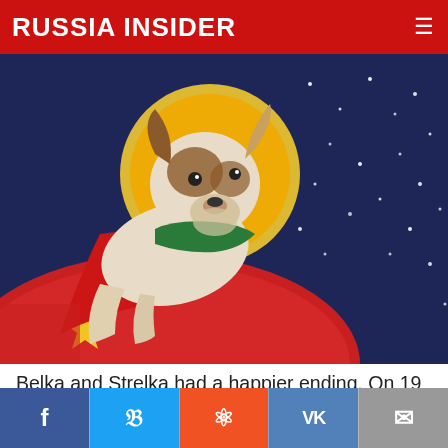RUSSIA INSIDER
[Figure (illustration): Artistic poster-style illustration of a dog (resembling Belka or Strelka) dressed in a red cape and green vest, with a golden halo behind its head, set against a dark navy starry sky background, reclining on a red globe-like surface.]
Belka and Strelka had a happier ending. On 19 August 1960, they flew into space, and spent a day in orbit before returning successfully to Earth. They thereby became the first living things to travel into orbit and come back again. The pair
Facebook | Twitter | Reddit | VK | Email